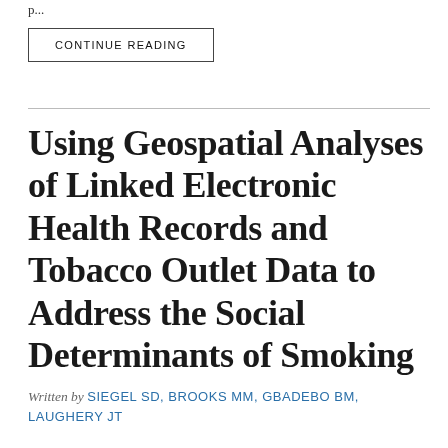p...
CONTINUE READING
Using Geospatial Analyses of Linked Electronic Health Records and Tobacco Outlet Data to Address the Social Determinants of Smoking
Written by SIEGEL SD, BROOKS MM, GBADEBO BM, LAUGHERY JT